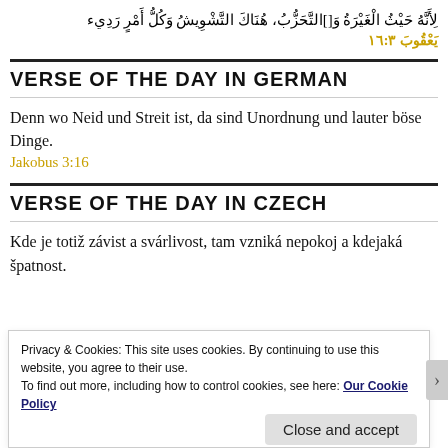لِأَنَّهُ حَيْثُ الْغَيْرَةُ وَالتَّحَزُّبُ، هُنَاكَ التَّشْوِيشُ وَكُلُّ أَمْرٍ رَدِيء
يَعْقُوبَ ١٦:٣
VERSE OF THE DAY IN GERMAN
Denn wo Neid und Streit ist, da sind Unordnung und lauter böse Dinge.
Jakobus 3:16
VERSE OF THE DAY IN CZECH
Kde je totiž závist a svárlivost, tam vzniká nepokoj a kdejaká špatnost.
Privacy & Cookies: This site uses cookies. By continuing to use this website, you agree to their use.
To find out more, including how to control cookies, see here: Our Cookie Policy
Close and accept